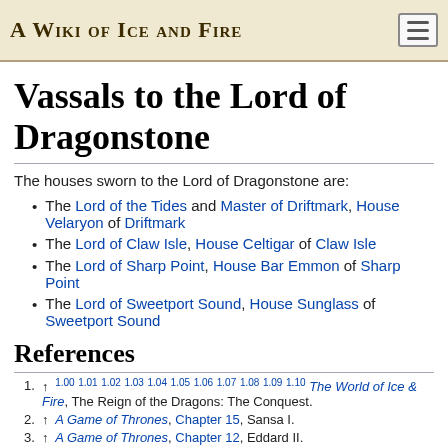A Wiki of Ice and Fire
Vassals to the Lord of Dragonstone
The houses sworn to the Lord of Dragonstone are:
The Lord of the Tides and Master of Driftmark, House Velaryon of Driftmark
The Lord of Claw Isle, House Celtigar of Claw Isle
The Lord of Sharp Point, House Bar Emmon of Sharp Point
The Lord of Sweetport Sound, House Sunglass of Sweetport Sound
References
1. ↑ 1.00 1.01 1.02 1.03 1.04 1.05 1.06 1.07 1.08 1.09 1.10 The World of Ice & Fire, The Reign of the Dragons: The Conquest.
2. ↑ A Game of Thrones, Chapter 15, Sansa I.
3. ↑ A Game of Thrones, Chapter 12, Eddard II.
4. ↑ 4.0 4.1 A Game of Thrones, Appendix.
5. ↑ 5.0 5.1 A Game of Thrones, Chapter 3, Daenerys I.